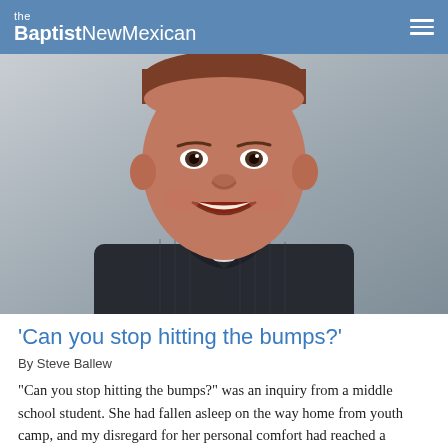the BaptistNewMexican
[Figure (photo): Headshot of a middle-aged smiling man wearing a dark pinstripe shirt, photographed against a light grey background.]
‘Can you stop hitting the bumps?’
By Steve Ballew
“Can you stop hitting the bumps?” was an inquiry from a middle school student. She had fallen asleep on the way home from youth camp, and my disregard for her personal comfort had reached a breaking point. She collapsed back